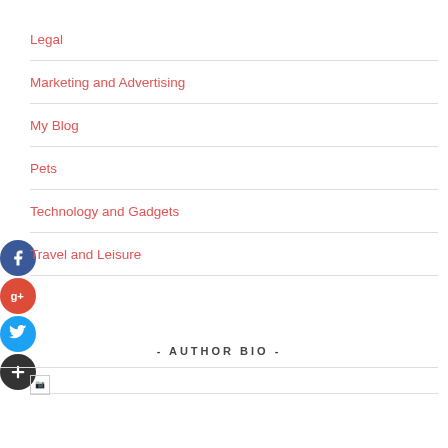Legal
Marketing and Advertising
My Blog
Pets
Technology and Gadgets
Travel and Leisure
- AUTHOR BIO -
[Figure (other): Broken image placeholder at bottom]